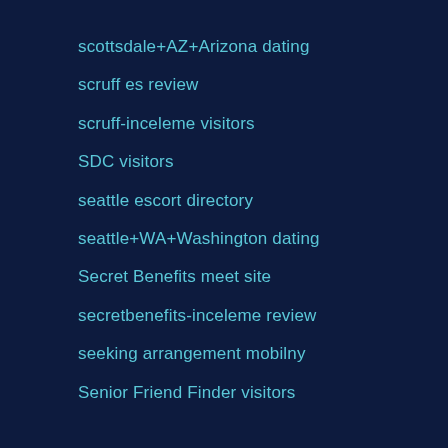scottsdale+AZ+Arizona dating
scruff es review
scruff-inceleme visitors
SDC visitors
seattle escort directory
seattle+WA+Washington dating
Secret Benefits meet site
secretbenefits-inceleme review
seeking arrangement mobilny
Senior Friend Finder visitors